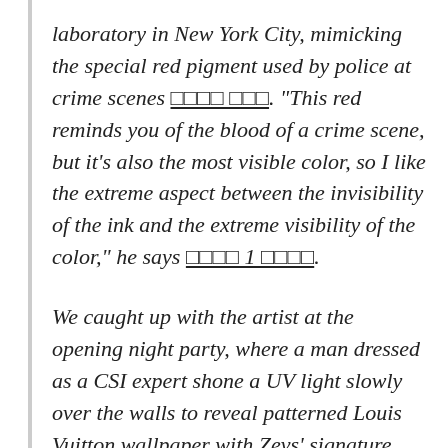laboratory in New York City, mimicking the special red pigment used by police at crime scenes ☐☐☐☐ ☐☐☐. “This red reminds you of the blood of a crime scene, but it’s also the most visible color, so I like the extreme aspect between the invisibility of the ink and the extreme visibility of the color,” he says ☐☐☐☐ 1 ☐☐☐☐.
We caught up with the artist at the opening night party, where a man dressed as a CSI expert shone a UV light slowly over the walls to reveal patterned Louis Vuitton wallpaper with Zevs’ signature dripping logos ☐☐☐☐. “With the idea to